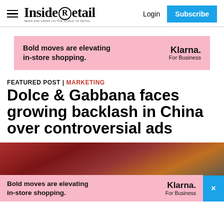Inside Retail — Login | Subscribe
[Figure (other): Klarna For Business advertisement banner — pink background, bold text 'Bold moves are elevating in-store shopping.' with 'Klarna. For Business' on the right]
FEATURED POST | MARKETING
Dolce & Gabbana faces growing backlash in China over controversial ads
[Figure (photo): Partial photo of a woman with dark red/maroon hair in a colorful interior setting, partially covered by a Klarna For Business advertisement overlay at the bottom]